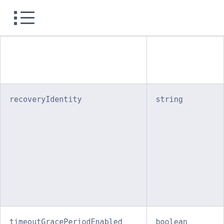TOC icon
| recoveryIdentity | string |
| timeoutGracePeriodEnabled | boolean |